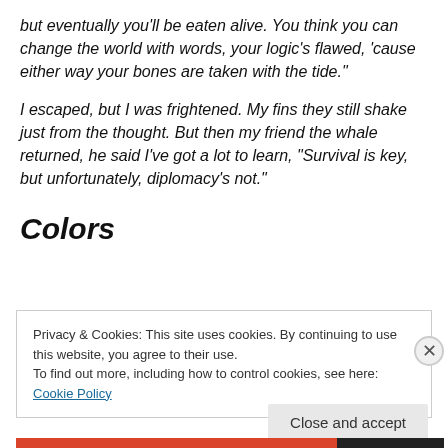but eventually you'll be eaten alive.  You think you can change the world with words, your logic's flawed, 'cause either way your bones are taken with the tide."

I escaped, but I was frightened.  My fins they still shake just from the thought.  But then my friend the whale returned, he said I've got a lot to learn, "Survival is key, but unfortunately, diplomacy's not."
Colors
Privacy & Cookies: This site uses cookies. By continuing to use this website, you agree to their use.
To find out more, including how to control cookies, see here: Cookie Policy